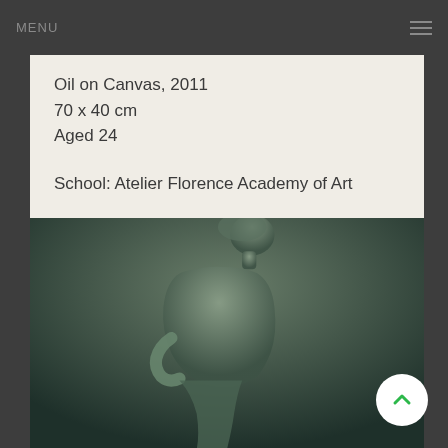MENU
Oil on Canvas, 2011
70 x 40 cm
Aged 24

School: Atelier Florence Academy of Art
[Figure (photo): A classical-style oil painting of a female nude figure in profile view against a muted dark green background, in the academic realist tradition of the Florence Academy of Art.]